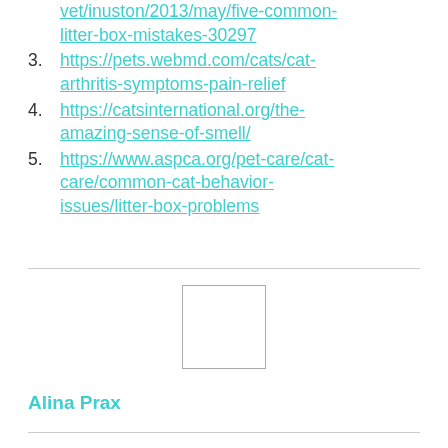vet/inuston/2013/may/five-common-litter-box-mistakes-30297
3. https://pets.webmd.com/cats/cat-arthritis-symptoms-pain-relief
4. https://catsinternational.org/the-amazing-sense-of-smell/
5. https://www.aspca.org/pet-care/cat-care/common-cat-behavior-issues/litter-box-problems
[Figure (photo): Small blank/white profile image placeholder box]
Alina Prax